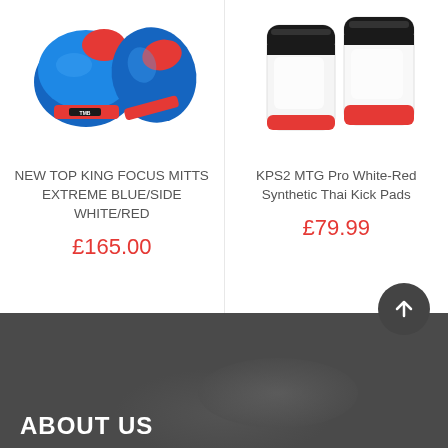[Figure (photo): Blue and red focus mitts with TMB branding on white background]
NEW TOP KING FOCUS MITTS EXTREME BLUE/SIDE WHITE/RED
£165.00
[Figure (photo): White and red synthetic Thai kick pads on white background]
KPS2 MTG Pro White-Red Synthetic Thai Kick Pads
£79.99
[Figure (other): Scroll to top button - dark circle with upward arrow]
ABOUT US